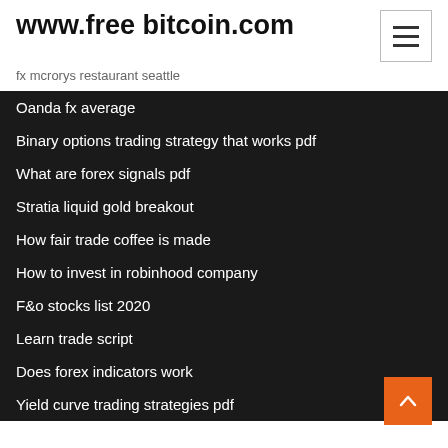www.free bitcoin.com
fx mcrorys restaurant seattle
Oanda fx average
Binary options trading strategy that works pdf
What are forex signals pdf
Stratia liquid gold breakout
How fair trade coffee is made
How to invest in robinhood company
F&o stocks list 2020
Learn trade script
Does forex indicators work
Yield curve trading strategies pdf